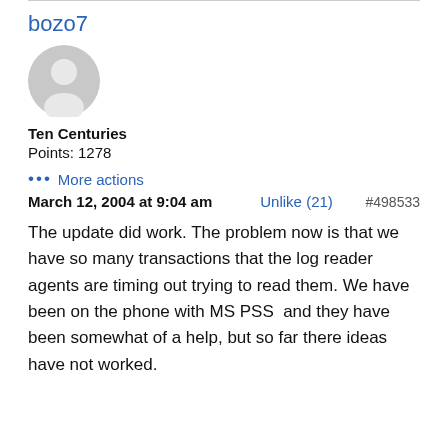bozo7
[Figure (illustration): Generic grey user avatar icon — circle with person silhouette]
Ten Centuries
Points: 1278
••• More actions
March 12, 2004 at 9:04 am   Unlike (21)   #498533
The update did work. The problem now is that we have so many transactions that the log reader agents are timing out trying to read them. We have been on the phone with MS PSS  and they have been somewhat of a help, but so far there ideas have not worked.